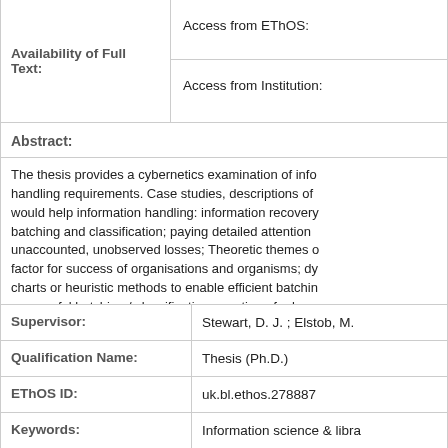| Availability of Full Text: | Access from EThOS:
Access from Institution: |
| Abstract: | The thesis provides a cybernetics examination of info... handling requirements. Case studies, descriptions of... would help information handling: information recovery... batching and classification; paying detailed attention... unaccounted, unobserved losses; Theoretic themes... factor for success of organisations and organisms; dy... charts or heuristic methods to enable efficient batchi... successful batching / classification; a notion of robus... networks in providing stability for increased retrieval;... explored; information recovery assisted by findings o... dealing with access to systems. Further research and... |
| Supervisor: | Stewart, D. J. ; Elstob, M. |
| Qualification Name: | Thesis (Ph.D.) |
| EThOS ID: | uk.bl.ethos.278887 |
| Keywords: | Information science & libra... |
| Share: |  |